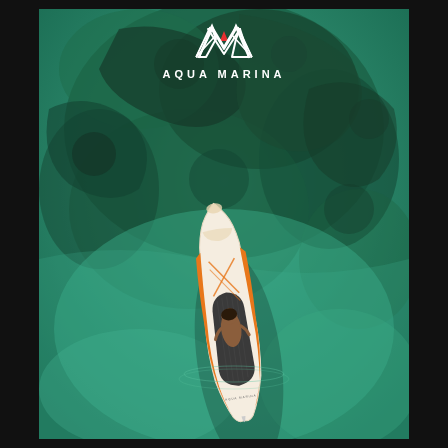[Figure (photo): Aerial view of a person lying on an orange and white Aqua Marina inflatable stand-up paddleboard (SUP) on clear turquoise/green water over rocky seabed. The board has orange rails and dark grey deck pad. Aqua Marina logo and brand name are overlaid at the top of the image.]